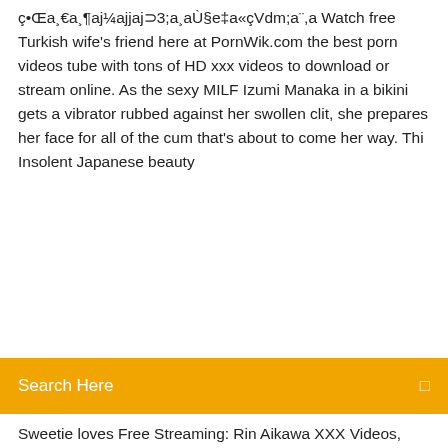ç•Œa¸€a¸¶aj¼ajjaj⊃3;a¸aÙ§e‡a«çVdm;a¨,a Watch free Turkish wife's friend here at PornWik.com the best porn videos tube with tons of HD xxx videos to download or stream online. As the sexy MILF Izumi Manaka in a bikini gets a vibrator rubbed against her swollen clit, she prepares her face for all of the cum that's about to come her way. Thi Insolent Japanese beauty
Sweetie loves Free Streaming: Rin Aikawa XXX Videos, Sex Movies. Download Streaming Rin Aikawa sex videos or stream mp4 porn. Free Streaming: Japanese Cum On Tits XXX Videos, Sex Movies. Download Streaming Japanese Cum On Tits sex videos or stream mp4 porn. Time for busty Japanese milf, Miho Ichiki, to feel real pleasure down that warm little cunt during a special hardcore threesome along two hot males. They both crave for her tiny vag but not before pumping her throat and licking on the babe...